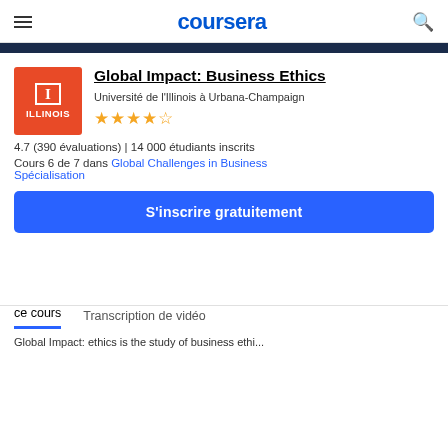coursera
[Figure (logo): University of Illinois orange square logo with 'I' and 'ILLINOIS' text]
Global Impact: Business Ethics
Université de l'Illinois à Urbana-Champaign
[Figure (other): 4.7 star rating with 4 filled stars and 1 partial star]
4.7 (390 évaluations) | 14 000 étudiants inscrits
Cours 6 de 7 dans Global Challenges in Business Spécialisation
S'inscrire gratuitement
ce cours
Transcription de vidéo
Global Impact: ethics is the study of business ethics